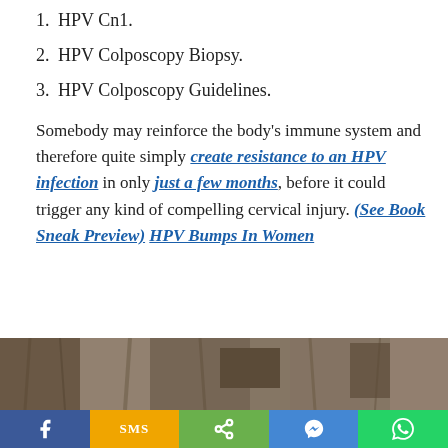1. HPV Cn1.
2. HPV Colposcopy Biopsy.
3. HPV Colposcopy Guidelines.
Somebody may reinforce the body's immune system and therefore quite simply create resistance to an HPV infection in only just a few months, before it could trigger any kind of compelling cervical injury. (See Book Sneak Preview) HPV Bumps In Women
[Figure (photo): Partial view of what appears to be a nature/forest photograph strip at the bottom of the page]
Social share bar with Facebook, SMS, Share, Messenger, WhatsApp buttons